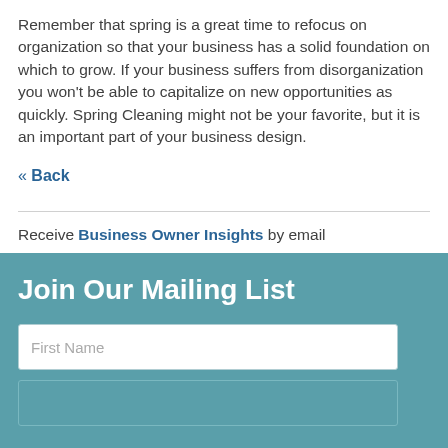Remember that spring is a great time to refocus on organization so that your business has a solid foundation on which to grow. If your business suffers from disorganization you won't be able to capitalize on new opportunities as quickly. Spring Cleaning might not be your favorite, but it is an important part of your business design.
« Back
Receive Business Owner Insights by email
Join Our Mailing List
First Name